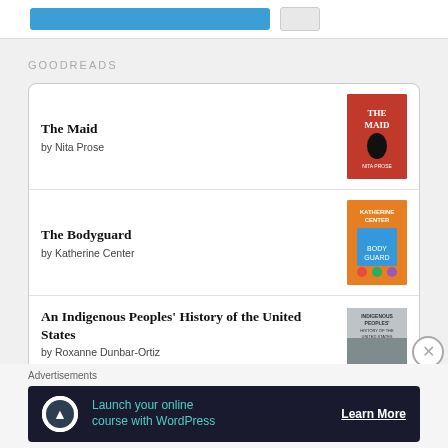GOODREADS
The Maid by Nita Prose
The Bodyguard by Katherine Center
An Indigenous Peoples' History of the United States by Roxanne Dunbar-Ortiz
Mythology by Edith Hamilton
Advertisements
Launch your online course with WordPress   Learn More